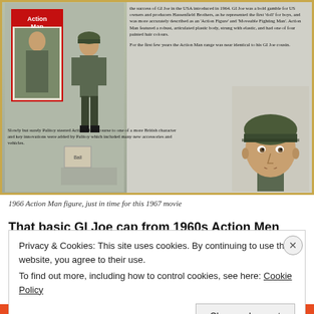[Figure (photo): Photo of 1966 Action Man figure with box packaging and a close-up of the soldier head figure wearing green helmet, against a grey background with gold border]
the success of GI Joe in the USA introduced in 1964. GI Joe was a bold gamble for US owners and producers Hassenfield Brothers, as he represented the first 'doll' for boys, and was more accurately described as an 'Action Figure' and 'Moveable Fighting Man'. Action Man featured a robust, articulated plastic body, strung with elastic, and had one of four painted hair colours.
For the first few years the Action Man range was near identical to his GI Joe cousin.
Slowly but surely Palitoy steered Action Man's course to one of a more British character and key innovations were added by Palitoy which included many new accessories and vehicles.
1966 Action Man figure, just in time for this 1967 movie
That basic GI Joe cap from 1960s Action Men
Privacy & Cookies: This site uses cookies. By continuing to use this website, you agree to their use.
To find out more, including how to control cookies, see here: Cookie Policy
Close and accept